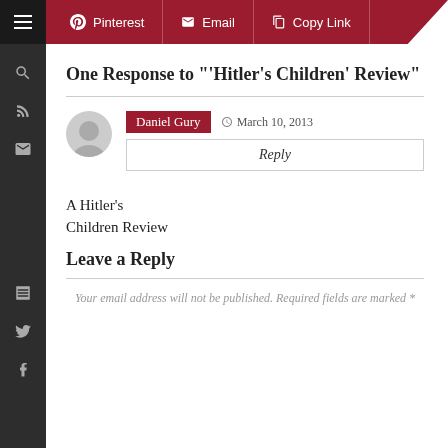Pinterest | Email | Copy Link
One Response to "‘Hitler's Children’ Review"
Daniel Gury  March 10, 2013
Reply
A Hitler’s Children Review
Leave a Reply
Your email address will not be published. Required fields are marked *